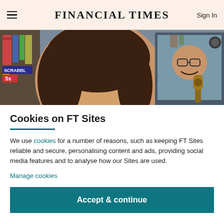FINANCIAL TIMES
[Figure (photo): Photo of a young woman smiling in the foreground holding an instrument, with a man on a screen in the background playing a ukulele]
Cookies on FT Sites
We use cookies for a number of reasons, such as keeping FT Sites reliable and secure, personalising content and ads, providing social media features and to analyse how our Sites are used.
Manage cookies
Accept & continue